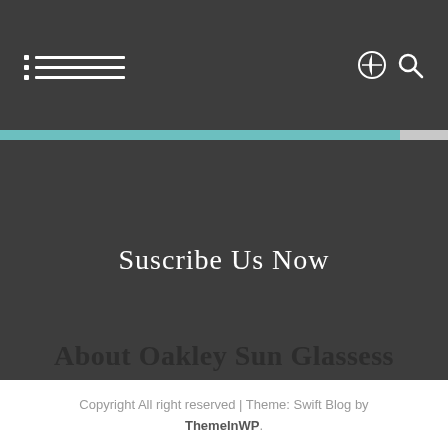Suscribe Us Now
About Oakley Sun Glassess
Copyright All right reserved | Theme: Swift Blog by ThemeInWP.